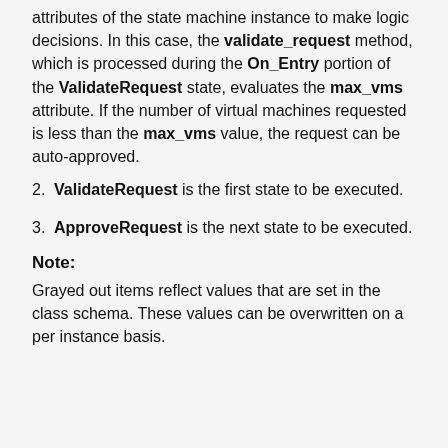attributes of the state machine instance to make logic decisions. In this case, the validate_request method, which is processed during the On_Entry portion of the ValidateRequest state, evaluates the max_vms attribute. If the number of virtual machines requested is less than the max_vms value, the request can be auto-approved.
ValidateRequest is the first state to be executed.
ApproveRequest is the next state to be executed.
Note:
Grayed out items reflect values that are set in the class schema. These values can be overwritten on a per instance basis.